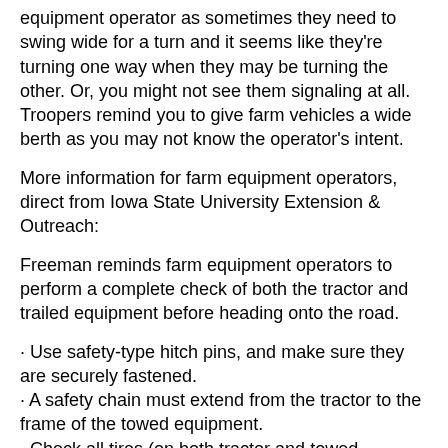equipment operator as sometimes they need to swing wide for a turn and it seems like they're turning one way when they may be turning the other. Or, you might not see them signaling at all. Troopers remind you to give farm vehicles a wide berth as you may not know the operator's intent.
More information for farm equipment operators, direct from Iowa State University Extension & Outreach:
Freeman reminds farm equipment operators to perform a complete check of both the tractor and trailed equipment before heading onto the road.
· Use safety-type hitch pins, and make sure they are securely fastened.
· A safety chain must extend from the tractor to the frame of the towed equipment.
· Check all tires (on both tractor and towed equipment) for air pressure, cuts and bumps.
· Always lock brake pedals together for road travel. Sudden braking